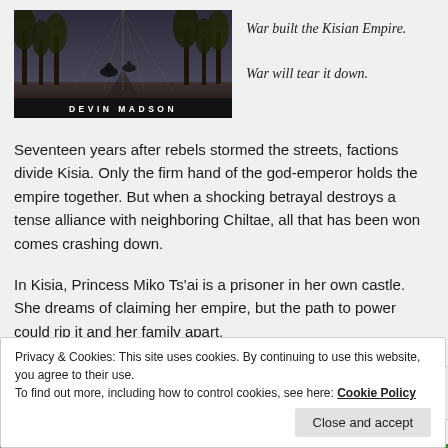[Figure (illustration): Book cover for a novel by Devin Madson showing a dark atmospheric scene with trees and horseback riders, with the author name 'DEVIN MADSON' in bold white letters at the bottom]
War built the Kisian Empire.
War will tear it down.
Seventeen years after rebels stormed the streets, factions divide Kisia. Only the firm hand of the god-emperor holds the empire together. But when a shocking betrayal destroys a tense alliance with neighboring Chiltae, all that has been won comes crashing down.
In Kisia, Princess Miko Ts'ai is a prisoner in her own castle. She dreams of claiming her empire, but the path to power could rip it and her family apart.
Privacy & Cookies: This site uses cookies. By continuing to use this website, you agree to their use.
To find out more, including how to control cookies, see here: Cookie Policy
Close and accept